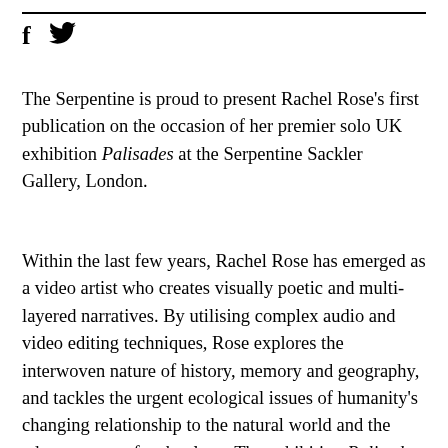[Figure (other): Social media icons: Facebook (f) and Twitter (bird icon)]
The Serpentine is proud to present Rachel Rose's first publication on the occasion of her premier solo UK exhibition Palisades at the Serpentine Sackler Gallery, London.
Within the last few years, Rachel Rose has emerged as a video artist who creates visually poetic and multi-layered narratives. By utilising complex audio and video editing techniques, Rose explores the interwoven nature of history, memory and geography, and tackles the urgent ecological issues of humanity's changing relationship to the natural world and the advancement of technology. The exhibition Palisades is a site-specific installation centred around two of Rose's recent video works, Palisades in Palisades (2014) and A Minute Ago (2014), as well as a new